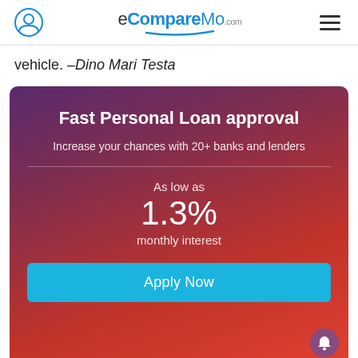eCompareMo.com
vehicle. –Dino Mari Testa
[Figure (infographic): Fast Personal Loan approval banner: gradient background from purple to red, title 'Fast Personal Loan approval', subtitle 'Increase your chances with 20+ banks and lenders', divider line, 'As low as', '1.3%', 'monthly interest', 'Apply Now' cyan button, notification bell icon bottom right.]